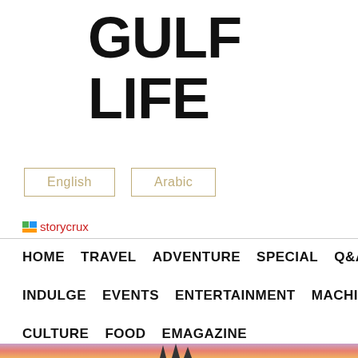GULF LIFE
English
Arabic
[Figure (logo): storycrux logo with text 'storycrux' in red]
HOME
TRAVEL
ADVENTURE
SPECIAL
Q&A
INDULGE
EVENTS
ENTERTAINMENT
MACHINES
CULTURE
FOOD
EMAGAZINE
[Figure (photo): Aerial photo of towers or skyscraper spires against a colorful pink and purple sunset sky]